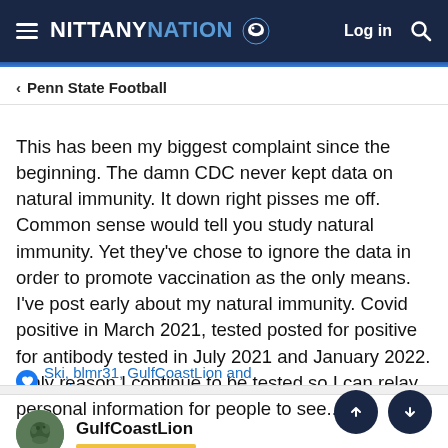NITTANY NATION — Log in
Penn State Football
This has been my biggest complaint since the beginning. The damn CDC never kept data on natural immunity. It down right pisses me off. Common sense would tell you study natural immunity. Yet they've chose to ignore the data in order to promote vaccination as the only means. I've post early about my natural immunity. Covid positive in March 2021, tested posted for positive for antibody tested in July 2021 and January 2022. Only reason I continue to be tested so I can relay personal information for people to see...
Ski, blmr31, GulfCoastLion and 2 others
GulfCoastLion